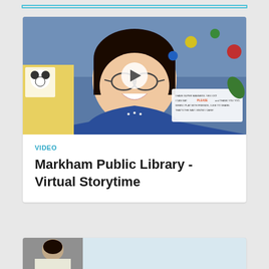[Figure (screenshot): Top border/button element partially visible at top of page]
[Figure (photo): Video thumbnail showing a smiling woman with glasses wearing a blue top, standing in front of a blue wall with colorful dots and a sign. A play button overlay is centered on the image. This is a Markham Public Library Virtual Storytime video card.]
VIDEO
Markham Public Library - Virtual Storytime
[Figure (photo): Partial view of a second video card at the bottom of the page, showing a person in a light-colored top]